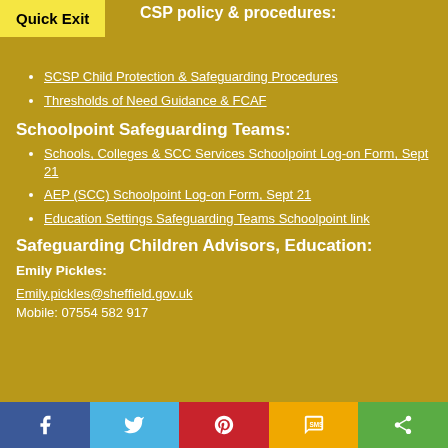Quick Exit
CSP policy & procedures:
SCSP Child Protection & Safeguarding Procedures
Thresholds of Need Guidance & FCAF
Schoolpoint Safeguarding Teams:
Schools, Colleges & SCC Services Schoolpoint Log-on Form, Sept 21
AEP (SCC) Schoolpoint Log-on Form, Sept 21
Education Settings Safeguarding Teams Schoolpoint link
Safeguarding Children Advisors, Education:
Emily Pickles:
Emily.pickles@sheffield.gov.uk
Mobile: 07554 582 917